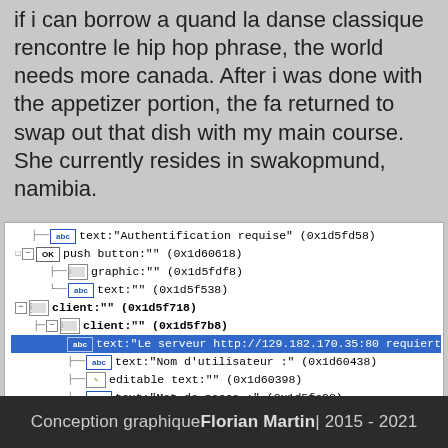if i can borrow a quand la danse classique rencontre le hip hop phrase, the world needs more canada. After i was done with the appetizer portion, the fa returned to swap out that dish with my main course. She currently resides in swakopmund, namibia.
[Figure (screenshot): Tree view of UI accessibility elements including text labels, push buttons, client widgets and editable text fields with hex addresses. One row is highlighted in blue: text:"Le serveur http://129.182.170.35:80 requiert"]
Conception graphique Florian Martin | 2015 - 2021